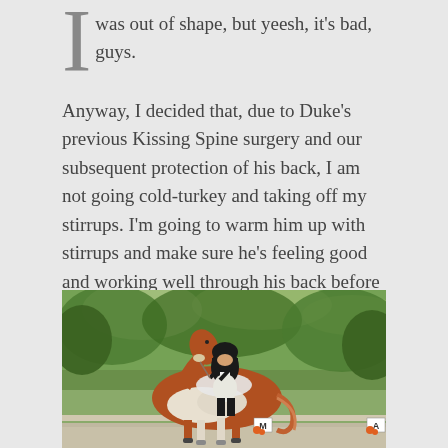was out of shape, but yeesh, it's bad, guys.
Anyway, I decided that, due to Duke's previous Kissing Spine surgery and our subsequent protection of his back, I am not going cold-turkey and taking off my stirrups. I'm going to warm him up with stirrups and make sure he's feeling good and working well through his back before I go stirrup-less. I think that's the best for both of us.
[Figure (photo): A rider in formal dressage attire (black jacket, white breeches, black helmet) riding a chestnut and white paint horse in a dressage arena. Trees are visible in the background. Arena letters M and A are visible at the bottom.]